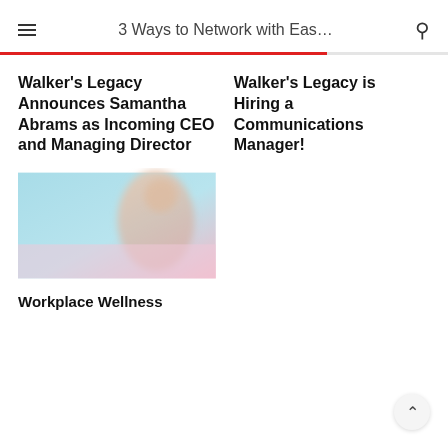3 Ways to Network with Eas…
Walker's Legacy Announces Samantha Abrams as Incoming CEO and Managing Director
Walker's Legacy is Hiring a Communications Manager!
[Figure (photo): Blurred photo with teal and pink pastel tones, appears to show a person, used as article thumbnail image]
Workplace Wellness